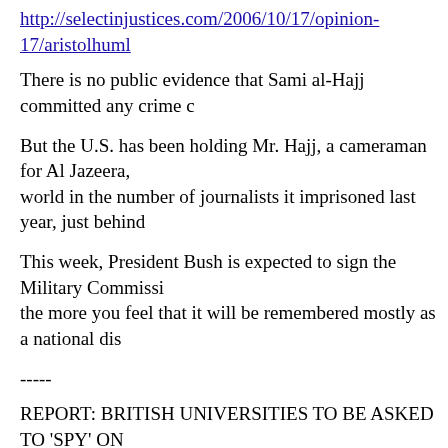http://selectinjustices.com/2006/10/17/opinion-17/aristolhuml
There is no public evidence that Sami al-Hajj committed any crime c
But the U.S. has been holding Mr. Hajj, a cameraman for Al Jazeera, world in the number of journalists it imprisoned last year, just behind
This week, President Bush is expected to sign the Military Commissi the more you feel that it will be remembered mostly as a national dis
-----
REPORT: BRITISH UNIVERSITIES TO BE ASKED TO 'SPY' ON Also, all religious schools in Britain will be required to enroll those c Tom Regan, Christian Science Monitor, 10/16/06
http://www.csmonitor.com/2006/1016/dailyUpdate.html
In a move sure to set off more fireworks between Tony Blair's govern suspect are "involved with Islamic extremism and supporting terroris
The Guardian reports that universities will be told to report these stu
Wakkas Khan, president of the Federation of Student Islamic Societi clearly targeting Muslim students and treating them to a higher level
Gemma Tumelty, president of the National Union of Students, said: